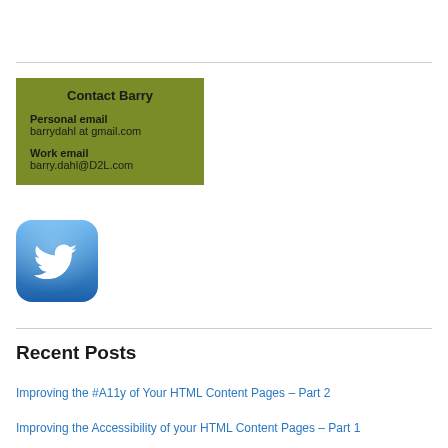[Figure (infographic): Contact Barry box with olive/green background showing personal email barrydahl at gmail.com and work email barry.dahl@D2L.com]
[Figure (logo): Twitter app icon — rounded blue square with white Twitter bird logo]
Recent Posts
Improving the #A11y of Your HTML Content Pages – Part 2
Improving the Accessibility of your HTML Content Pages – Part 1